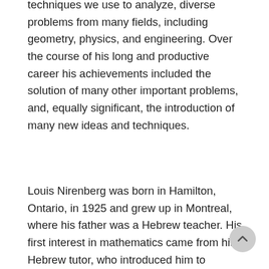techniques we use to analyze, diverse problems from many fields, including geometry, physics, and engineering. Over the course of his long and productive career his achievements included the solution of many other important problems, and, equally significant, the introduction of many new ideas and techniques.
Louis Nirenberg was born in Hamilton, Ontario, in 1925 and grew up in Montreal, where his father was a Hebrew teacher. His first interest in mathematics came from his Hebrew tutor, who introduced him to mathematical puzzles. He studied